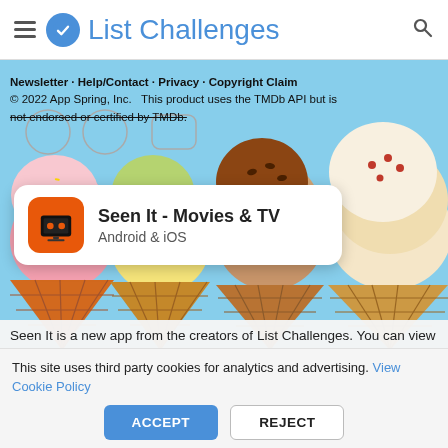List Challenges
[Figure (screenshot): Ice cream cones with multiple scoops against a light blue sky background, decorative website banner image]
Newsletter · Help/Contact · Privacy · Copyright Claim
© 2022 App Spring, Inc.   This product uses the TMDb API but is not endorsed or certified by TMDb.
[Figure (other): App card for 'Seen It - Movies & TV' showing orange TV icon, app name, and 'Android & iOS' subtitle]
Seen It is a new app from the creators of List Challenges. You can view movies and shows in one place and filter by streaming provider, genre, release year, runtime, and rating (Rotten Tomatoes, Imdb, and/or Metacritic). Also, you can track what you've seen, want to see, like, or dislike, as well as track individual seasons or episodes of shows. In addition, you can see the most watched/liked stuff
This site uses third party cookies for analytics and advertising. View Cookie Policy
ACCEPT   REJECT